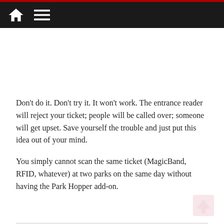Home Menu
Don't do it. Don't try it. It won't work. The entrance reader will reject your ticket; people will be called over; someone will get upset. Save yourself the trouble and just put this idea out of your mind.

You simply cannot scan the same ticket (MagicBand, RFID, whatever) at two parks on the same day without having the Park Hopper add-on.
Really?